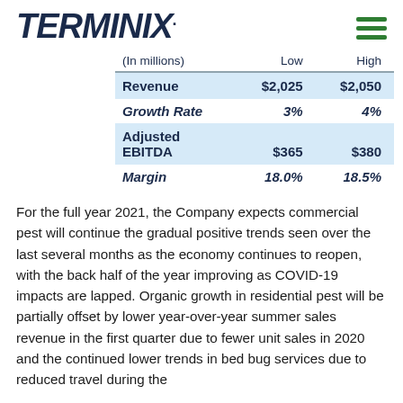TERMINIX
| (In millions) | Low | High |
| --- | --- | --- |
| Revenue | $2,025 | $2,050 |
| Growth Rate | 3% | 4% |
| Adjusted EBITDA | $365 | $380 |
| Margin | 18.0% | 18.5% |
For the full year 2021, the Company expects commercial pest will continue the gradual positive trends seen over the last several months as the economy continues to reopen, with the back half of the year improving as COVID-19 impacts are lapped. Organic growth in residential pest will be partially offset by lower year-over-year summer sales revenue in the first quarter due to fewer unit sales in 2020 and the continued lower trends in bed bug services due to reduced travel during the